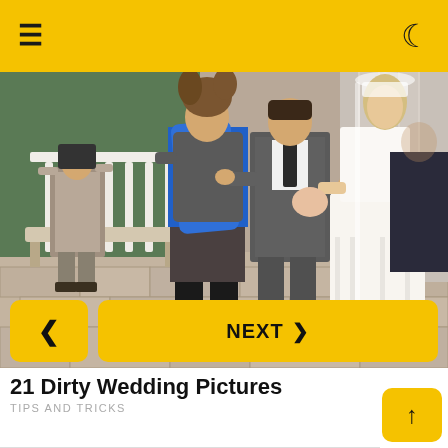≡  ☾
[Figure (photo): A wedding scene photo showing people at a wedding: a woman in a blue sash dress pulling down a man's pants, a bride in a white wedding dress, and a man in a suit in the background.]
21 Dirty Wedding Pictures
TIPS AND TRICKS